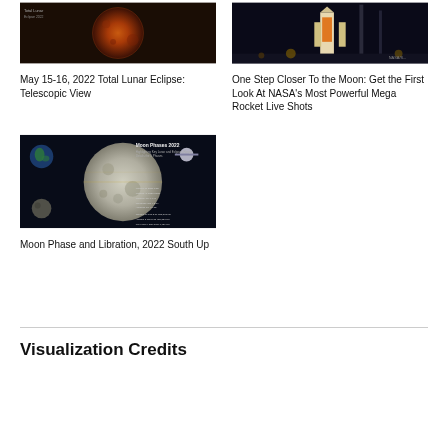[Figure (photo): Blood moon / total lunar eclipse image showing red-orange moon against dark background]
May 15-16, 2022 Total Lunar Eclipse: Telescopic View
[Figure (photo): NASA rocket (Artemis SLS) on launch pad at night with lights]
One Step Closer To the Moon: Get the First Look At NASA's Most Powerful Mega Rocket Live Shots
[Figure (infographic): Moon Phase and Libration 2022 diagram showing moon phases labeled with details]
Moon Phase and Libration, 2022 South Up
Visualization Credits